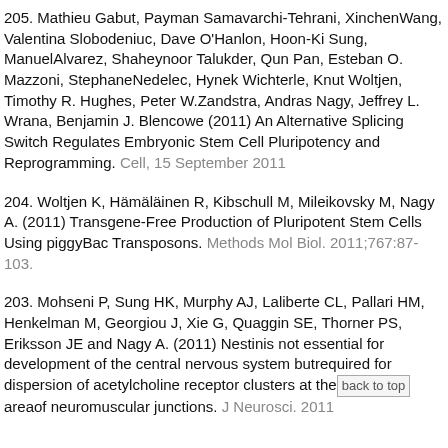205. Mathieu Gabut, Payman Samavarchi-Tehrani, XinchenWang, Valentina Slobodeniuc, Dave O'Hanlon, Hoon-Ki Sung, ManuelAlvarez, Shaheynoor Talukder, Qun Pan, Esteban O. Mazzoni, StephaneNedelec, Hynek Wichterle, Knut Woltjen, Timothy R. Hughes, Peter W.Zandstra, Andras Nagy, Jeffrey L. Wrana, Benjamin J. Blencowe (2011) An Alternative Splicing Switch Regulates Embryonic Stem Cell Pluripotency and Reprogramming. Cell, 15 September 2011
204. Woltjen K, Hämäläinen R, Kibschull M, Mileikovsky M, Nagy A. (2011) Transgene-Free Production of Pluripotent Stem Cells Using piggyBac Transposons. Methods Mol Biol. 2011;767:87-103.
203. Mohseni P, Sung HK, Murphy AJ, Laliberte CL, Pallari HM, Henkelman M, Georgiou J, Xie G, Quaggin SE, Thorner PS, Eriksson JE and Nagy A. (2011) Nestinis not essential for development of the central nervous system butrequired for dispersion of acetylcholine receptor clusters at the areaof neuromuscular junctions. J Neurosci. 2011